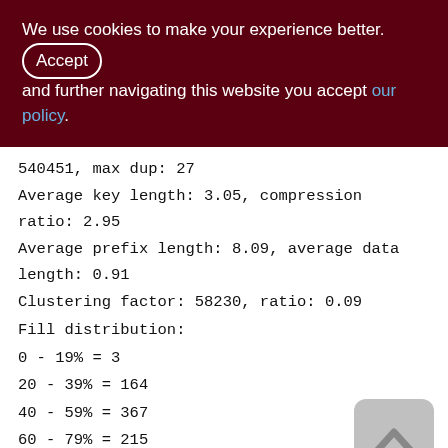We use cookies to make your experience better. By accepting and further navigating this website you accept our policy.
540451, max dup: 27
Average key length: 3.05, compression ratio: 2.95
Average prefix length: 8.09, average data length: 0.91
Clustering factor: 58230, ratio: 0.09
Fill distribution:
0 - 19% = 3
20 - 39% = 164
40 - 59% = 367
60 - 79% = 215
80 - 99% = 91